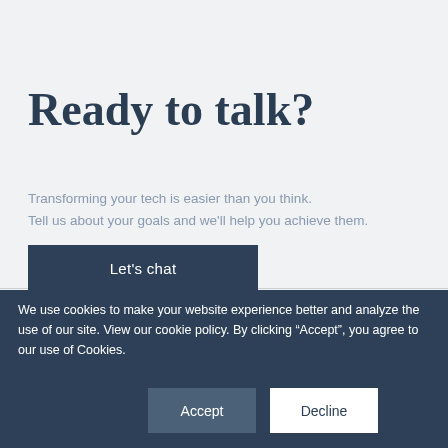Ready to talk?
Transforming your tech is easier than you think.
Tell us about your goals and we'll help you achieve them.
Let's chat
We use cookies to make your website experience better and analyze the use of our site. View our cookie policy. By clicking “Accept”, you agree to our use of Cookies.
Accept
Decline